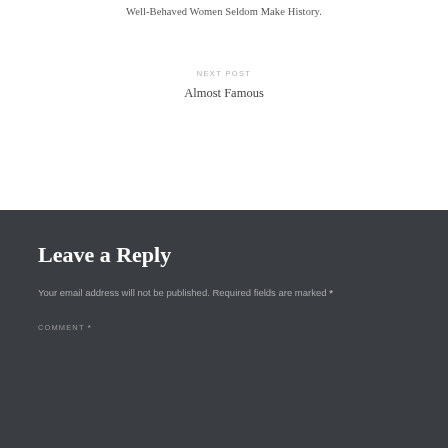Well-Behaved Women Seldom Make History.
NEXT POST
Almost Famous
Leave a Reply
Your email address will not be published. Required fields are marked *
COMMENT *